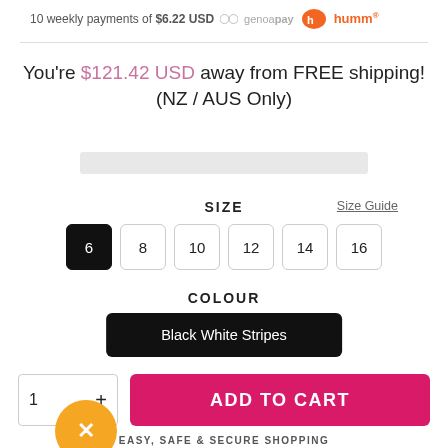10 weekly payments of $6.22 USD genoapay humm
You're $121.42 USD away from FREE shipping! (NZ / AUS Only)
SIZE
Size Guide
6  8  10  12  14  16
COLOUR
Black White Stripes
1  +
ADD TO CART
EASY, SAFE & SECURE SHOPPING